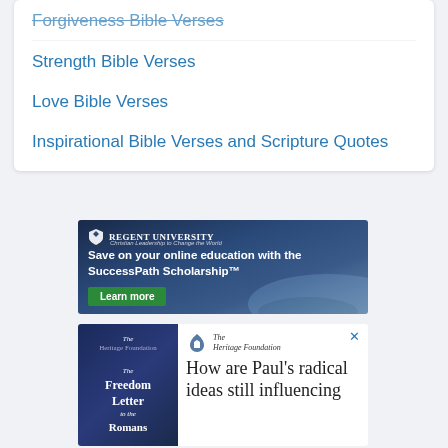Forgiveness Bible Verses
Strength Bible Verses
Love Bible Verses
Inspirational Bible Verses and Scripture Quotes
[Figure (screenshot): Regent University advertisement: Save on your online education with the SuccessPath Scholarship™. Learn more button.]
[Figure (screenshot): The Heritage Foundation advertisement featuring The Freedom Letter to the Romans book. How are Paul's radical ideas still influencing...]